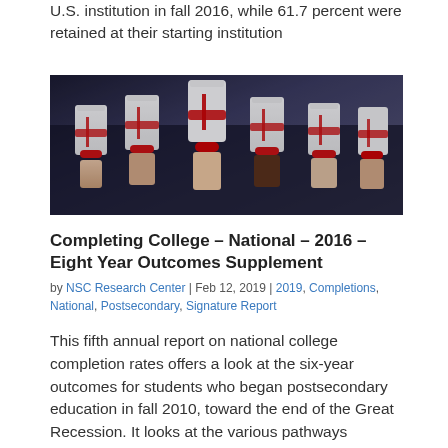U.S. institution in fall 2016, while 61.7 percent were retained at their starting institution
[Figure (photo): Group of graduates in black gowns holding rolled diplomas tied with red ribbons, multiple hands visible]
Completing College – National – 2016 – Eight Year Outcomes Supplement
by NSC Research Center | Feb 12, 2019 | 2019, Completions, National, Postsecondary, Signature Report
This fifth annual report on national college completion rates offers a look at the six-year outcomes for students who began postsecondary education in fall 2010, toward the end of the Great Recession. It looks at the various pathways students